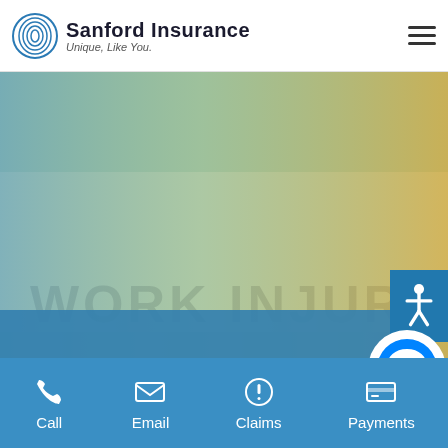Sanford Insurance — Unique, Like You.
[Figure (photo): Background photo showing a paper or surface with 'WORK INJURY' text embossed or printed, with a blue-yellow gradient overlay.]
Workers Compensation
Call  Email  Claims  Payments